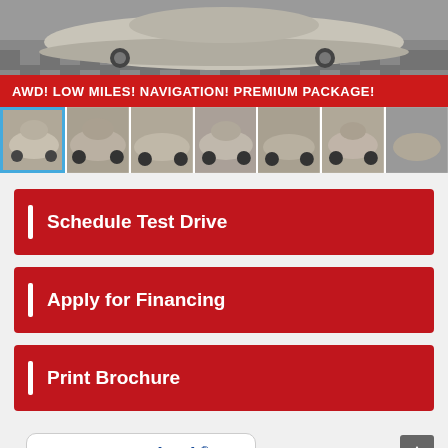[Figure (photo): Main photo of silver Lexus NX SUV in a dealership showroom with checkered floor]
AWD! LOW MILES! NAVIGATION! PREMIUM PACKAGE!
[Figure (photo): Row of 7 thumbnail images showing different angles of the silver Lexus NX SUV]
Schedule Test Drive
Apply for Financing
Print Brochure
[Figure (logo): AutoCheck - A part of Experian logo with FREE VEHICLE HISTORY REPORT text below]